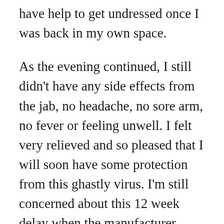have help to get undressed once I was back in my own space.
As the evening continued, I still didn't have any side effects from the jab, no headache, no sore arm, no fever or feeling unwell. I felt very relieved and so pleased that I will soon have some protection from this ghastly virus. I'm still concerned about this 12 week delay when the manufacturer recommends 3 weeks, but there is nothing I can do to change that time lag.
In the meantime, having the jab means I can have clients visit me at home, which will really help